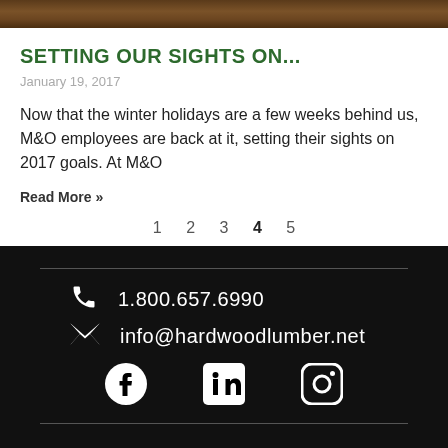[Figure (photo): Dark wood grain texture image at top of page]
SETTING OUR SIGHTS ON...
January 19, 2017
Now that the winter holidays are a few weeks behind us, M&O employees are back at it, setting their sights on 2017 goals. At M&O
Read More »
1  2  3  4  5
1.800.657.6990  info@hardwoodlumber.net  [Facebook] [LinkedIn] [Instagram]